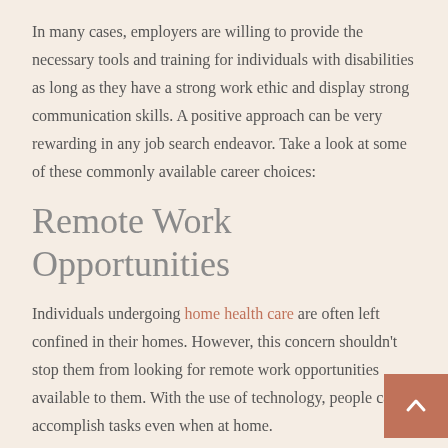In many cases, employers are willing to provide the necessary tools and training for individuals with disabilities as long as they have a strong work ethic and display strong communication skills. A positive approach can be very rewarding in any job search endeavor. Take a look at some of these commonly available career choices:
Remote Work Opportunities
Individuals undergoing home health care are often left confined in their homes. However, this concern shouldn't stop them from looking for remote work opportunities available to them. With the use of technology, people can accomplish tasks even when at home.
There are also options for telecommuting positions that d… require previous experience or education but provide competitive pay rates. Individuals who are interested in these